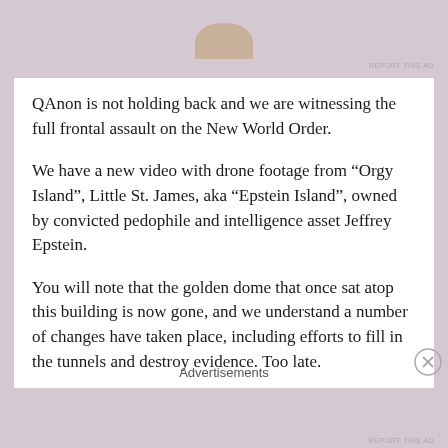REPORT THIS AD
QAnon is not holding back and we are witnessing the full frontal assault on the New World Order.
We have a new video with drone footage from “Orgy Island”, Little St. James, aka “Epstein Island”, owned by convicted pedophile and intelligence asset Jeffrey Epstein.
You will note that the golden dome that once sat atop this building is now gone, and we understand a number of changes have taken place, including efforts to fill in the tunnels and destroy evidence. Too late.
Advertisements
REPORT THIS AD